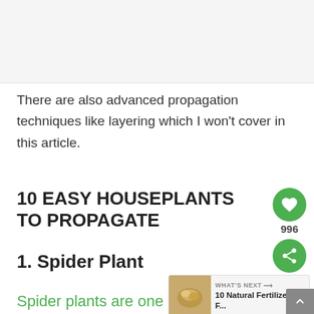[Figure (other): Advertisement placeholder area with light gray background]
There are also advanced propagation techniques like layering which I won't cover in this article.
10 EASY HOUSEPLANTS TO PROPAGATE
1. Spider Plant
Spider plants are one of the easiest
[Figure (infographic): Like/heart button widget with count 996 and share button, green circular buttons on right side]
[Figure (infographic): What's Next widget showing '10 Natural Fertilizers F...' with thumbnail image]